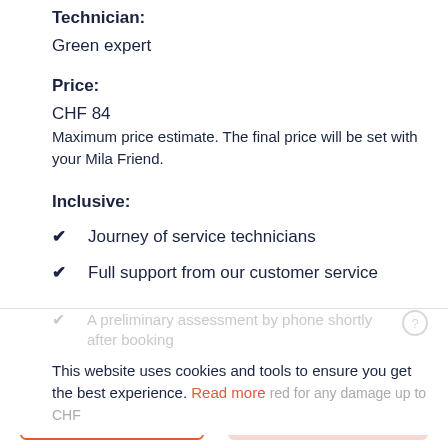Technician:
Green expert
Price:
CHF 84
Maximum price estimate. The final price will be set with your Mila Friend.
Inclusive:
Journey of service technicians
Full support from our customer service
A preliminary assessment by phone shortly after booking
This website uses cookies and tools to ensure you get the best experience. Read more
Confirm